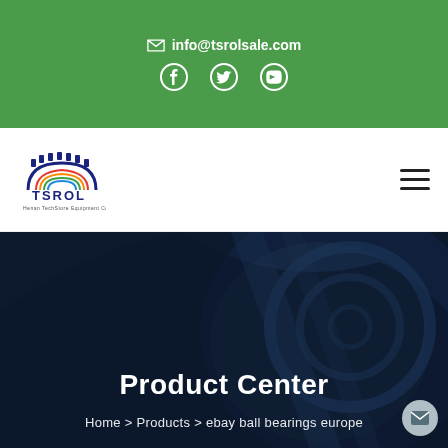info@tsrolsale.com
[Figure (logo): TSROL company logo with gear icon]
Product Center
Home > Products > ebay ball bearings europe